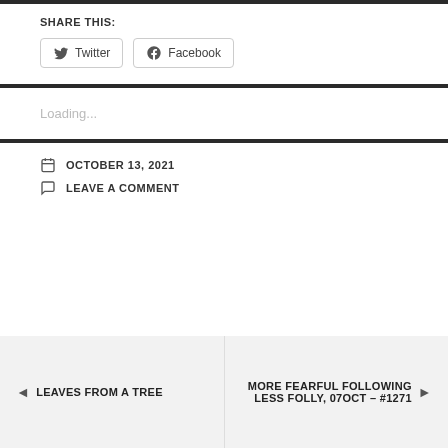SHARE THIS:
Twitter  Facebook
Loading...
OCTOBER 13, 2021
LEAVE A COMMENT
◄ LEAVES FROM A TREE
MORE FEARFUL FOLLOWING LESS FOLLY, 07OCT – #1271 ►